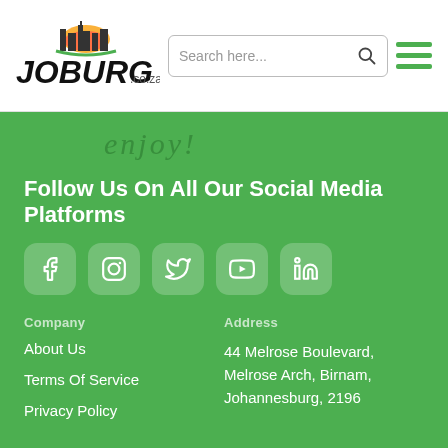[Figure (logo): Joburg.co.za logo with city skyline and sun graphic, black hand-drawn style text]
Search here...
[Figure (illustration): Hamburger menu icon with three green horizontal lines]
[Figure (illustration): Handwriting style text on green background]
Follow Us On All Our Social Media Platforms
[Figure (illustration): Social media icons: Facebook, Instagram, Twitter, YouTube, LinkedIn in rounded square buttons]
Company
About Us
Terms Of Service
Privacy Policy
Address
44 Melrose Boulevard, Melrose Arch, Birnam, Johannesburg, 2196